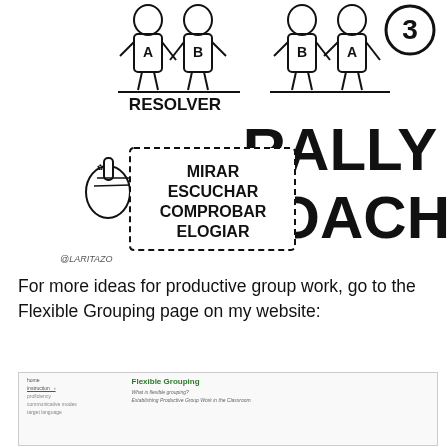[Figure (illustration): An illustrated infographic showing 'Rally Coach' strategy (step 3). Left side shows two figures labeled A and B with 'RESOLVER' below them, and a hand with a box listing 'MIRAR ESCUCHAR COMPROBAR ELOGIAR'. Right side shows a large bold text 'RALLY COACH' with the number 3 in a circle and figures B and A. Attribution '@LARITAZO' at bottom left.]
For more ideas for productive group work, go to the Flexible Grouping page on my website:
[Figure (screenshot): Screenshot of a website showing a 'Flexible Grouping' page with navigation links including home, instruction, proficiency, communicative modes, target language on the left, and content including 'What is flexible grouping?' and 'Establishing Productive Group Work in the Classroom' on the right.]